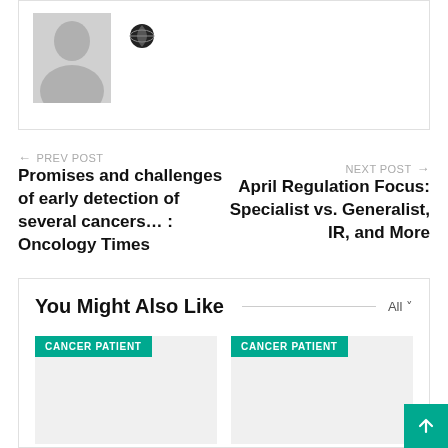[Figure (illustration): Gray placeholder avatar silhouette with a globe/world icon to its right]
← PREV POST
Promises and challenges of early detection of several cancers… : Oncology Times
NEXT POST →
April Regulation Focus: Specialist vs. Generalist, IR, and More
You Might Also Like
[Figure (screenshot): Two card thumbnails each labeled CANCER PATIENT in teal badge, with gray placeholder image areas below]